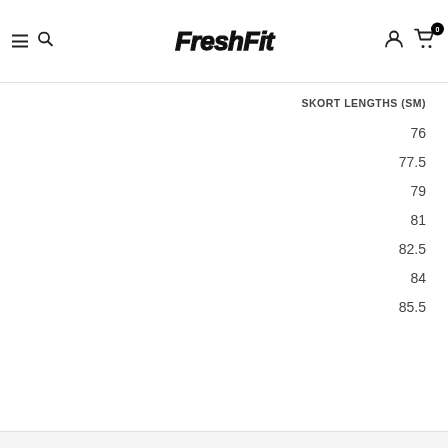[Figure (logo): FreshFit logo in stylized graffiti/script font, black on white]
SKORT LENGTHS (SM)
76
77.5
79
81
82.5
84
85.5